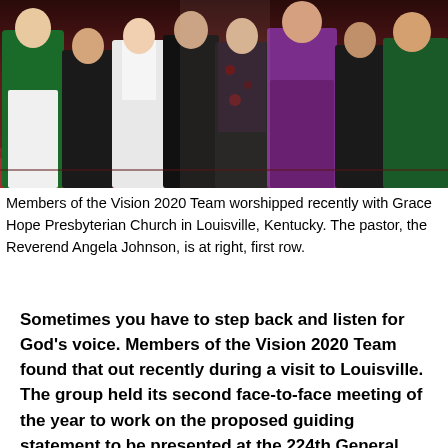[Figure (photo): Group photo of members of the Vision 2020 Team standing in a row inside a church. People are wearing various outfits including green, white, black, floral, purple, and dark green. The background shows dark red/maroon church interior.]
Members of the Vision 2020 Team worshipped recently with Grace Hope Presbyterian Church in Louisville, Kentucky. The pastor, the Reverend Angela Johnson, is at right, first row.
Sometimes you have to step back and listen for God's voice. Members of the Vision 2020 Team found that out recently during a visit to Louisville. The group held its second face-to-face meeting of the year to work on the proposed guiding statement to be presented at the 224th General Assembly (2020) of the Presbyterian Church (U.S.A.) next summer.